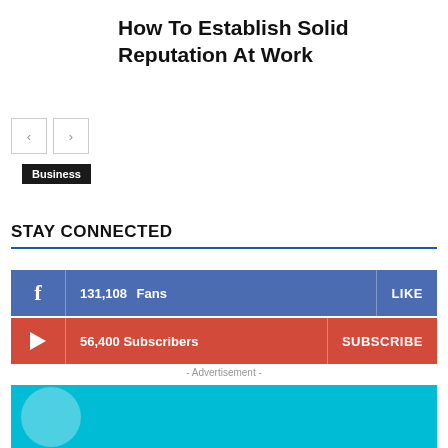How To Establish Solid Reputation At Work
Business
[Figure (other): Navigation arrow buttons (left and right)]
STAY CONNECTED
131,108  Fans  LIKE
56,400  Subscribers  SUBSCRIBE
- Advertisement -
[Figure (other): Advertisement banner with cyan background]